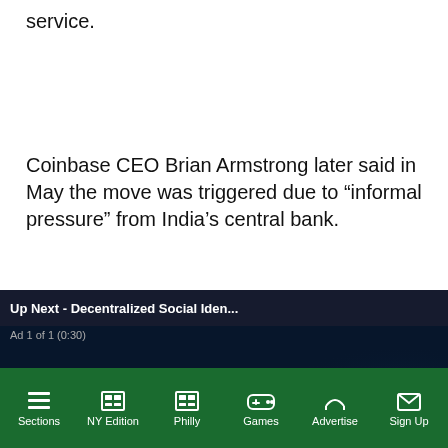service.
Coinbase CEO Brian Armstrong later said in May the move was triggered due to “informal pressure” from India’s central bank.
[Figure (screenshot): Video overlay widget showing 'Up Next - Decentralized Social Iden...' with a close button (X), 'Ad 1 of 1 (0:30)' label, a dark background with glowing blue blockchain chain image, and a yellow mute button in the lower left.]
led UPI transfers to and make them nterview. He added gulators to try and
We are pushing for regulations. With the right
Sections   NY Edition   Philly   Games   Advertise   Sign Up